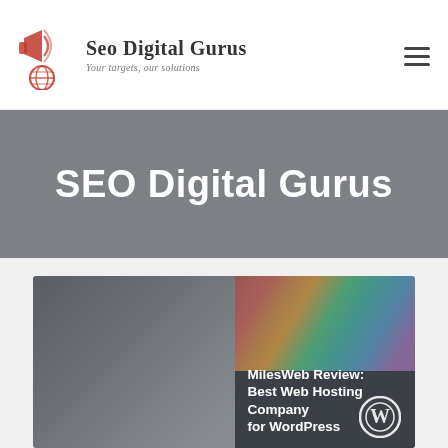SEO Digital Gurus — Your targets, our solutions
SEO Digital Gurus
[Figure (screenshot): Article card image showing a laptop with a WordPress blog open and colorful bokeh lights in the background. Overlaid text reads 'MilesWeb Review: Best Web Hosting Company for WordPress' with a WordPress logo in the bottom right corner.]